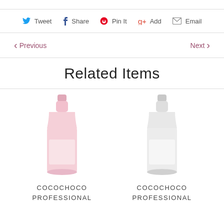Tweet  Share  Pin It  Add  Email
Previous  Next
Related Items
[Figure (illustration): Pink bottle product image for COCOCHOCO PROFESSIONAL]
COCOCHOCO PROFESSIONAL
[Figure (illustration): White/light bottle product image for COCOCHOCO PROFESSIONAL]
COCOCHOCO PROFESSIONAL